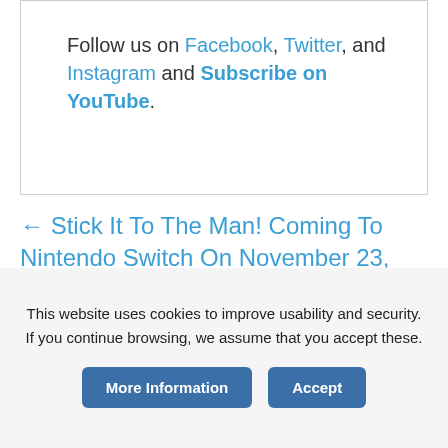Follow us on Facebook, Twitter, and Instagram and Subscribe on YouTube.
← Stick It To The Man! Coming To Nintendo Switch On November 23, 2017
MXGP3 Lands On Nintendo Switch On November 17
This website uses cookies to improve usability and security. If you continue browsing, we assume that you accept these.